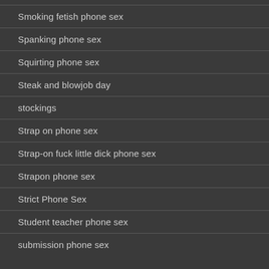Smoking fetish phone sex
Spanking phone sex
Squirting phone sex
Steak and blowjob day
stockings
Strap on phone sex
Strap-on fuck little dick phone sex
Strapon phone sex
Strict Phone Sex
Student teacher phone sex
submission phone sex